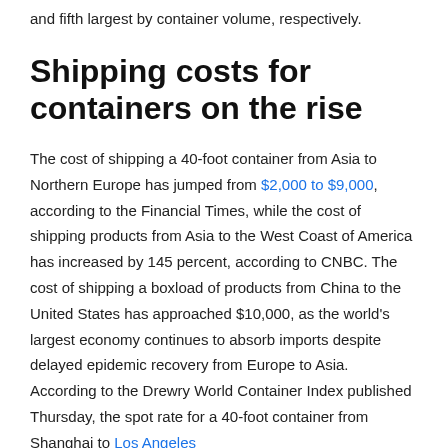and fifth largest by container volume, respectively.
Shipping costs for containers on the rise
The cost of shipping a 40-foot container from Asia to Northern Europe has jumped from $2,000 to $9,000, according to the Financial Times, while the cost of shipping products from Asia to the West Coast of America has increased by 145 percent, according to CNBC. The cost of shipping a boxload of products from China to the United States has approached $10,000, as the world's largest economy continues to absorb imports despite delayed epidemic recovery from Europe to Asia. According to the Drewry World Container Index published Thursday, the spot rate for a 40-foot container from Shanghai to Los Angeles